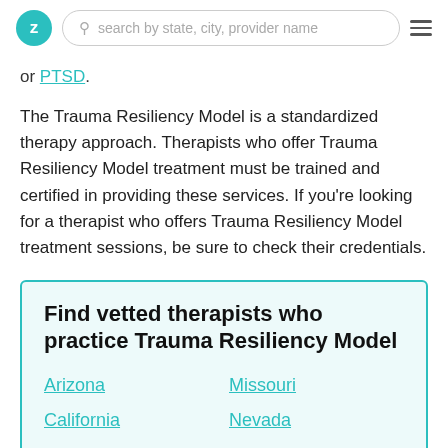search by state, city, provider name
or PTSD.
The Trauma Resiliency Model is a standardized therapy approach. Therapists who offer Trauma Resiliency Model treatment must be trained and certified in providing these services. If you’re looking for a therapist who offers Trauma Resiliency Model treatment sessions, be sure to check their credentials.
Find vetted therapists who practice Trauma Resiliency Model
Arizona
Missouri
California
Nevada
Colorado
New York